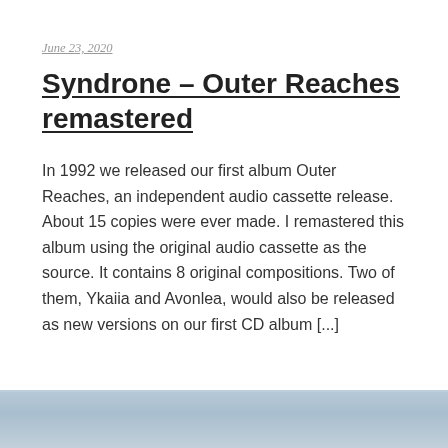June 23, 2020
Syndrone – Outer Reaches remastered
In 1992 we released our first album Outer Reaches, an independent audio cassette release. About 15 copies were ever made. I remastered this album using the original audio cassette as the source. It contains 8 original compositions. Two of them, Ykaiia and Avonlea, would also be released as new versions on our first CD album [...]
[Figure (photo): Light blue/grey textured background image strip at the bottom of the page]